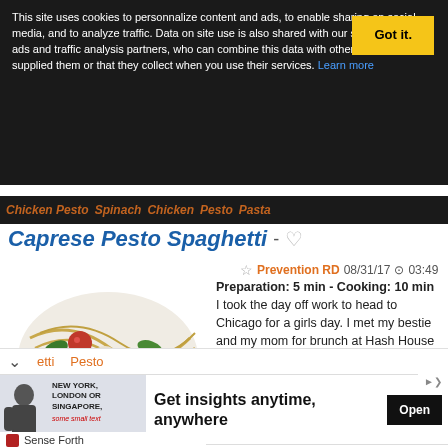This site uses cookies to personnalize content and ads, to enable sharing on social media, and to analyze traffic. Data on site use is also shared with our social network, ads and traffic analysis partners, who can combine this data with other data you supplied them or that they collect when you use their services. Learn more
Caprese Pesto Spaghetti - ♡
☆ Prevention RD  08/31/17 ⊙ 03:49
[Figure (photo): Photo of caprese pesto spaghetti pasta dish with basil, tomatoes on a white plate]
Preparation: 5 min - Cooking: 10 min I took the day off work to head to Chicago for a girls day. I met my bestie and my mom for brunch at Hash House A Go Go (always a gluttonous good time) and then to try on bridesmaid dresses in the Gold Coast. We had fun catching up and enjoying some time...
etti  Pesto
[Figure (screenshot): Advertisement banner: NEW YORK, LONDON OR SINGAPORE - Get insights anytime, anywhere. Open button. Sense Forth branding.]